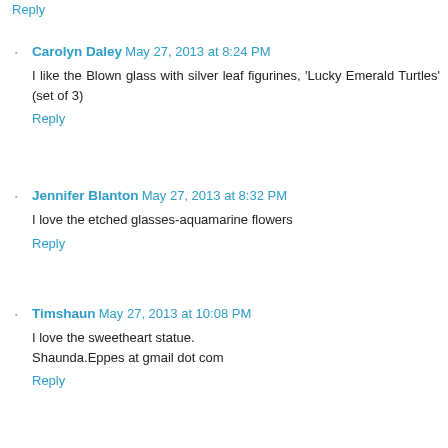Reply
Carolyn Daley  May 27, 2013 at 8:24 PM
I like the Blown glass with silver leaf figurines, 'Lucky Emerald Turtles' (set of 3)
Reply
Jennifer Blanton  May 27, 2013 at 8:32 PM
I love the etched glasses-aquamarine flowers
Reply
Timshaun  May 27, 2013 at 10:08 PM
I love the sweetheart statue.
Shaunda.Eppes at gmail dot com
Reply